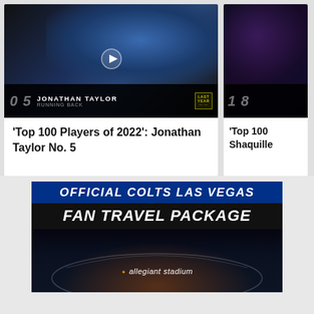[Figure (screenshot): Video thumbnail showing Jonathan Taylor, Indianapolis Colts running back, ranked #5 in Top 100 Players of 2022, with player stats bar at bottom]
'Top 100 Players of 2022': Jonathan Taylor No. 5
[Figure (screenshot): Video thumbnail showing Shaquille (partially visible), ranked #18, dark purple/blue toned background]
'Top 100 Shaquille
[Figure (infographic): Official Colts Las Vegas Fan Travel Package advertisement banner showing Allegiant Stadium at night]